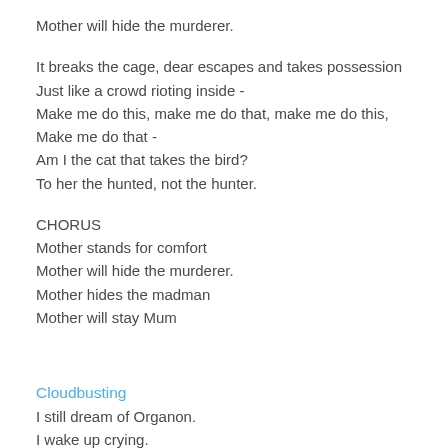Mother will hide the murderer.
It breaks the cage, dear escapes and takes possession
Just like a crowd rioting inside -
Make me do this, make me do that, make me do this,
Make me do that -
Am I the cat that takes the bird?
To her the hunted, not the hunter.
CHORUS
Mother stands for comfort
Mother will hide the murderer.
Mother hides the madman
Mother will stay Mum
Cloudbusting
I still dream of Organon.
I wake up crying.
You're making rain
And you're just in reach
When you and sleep escape me.